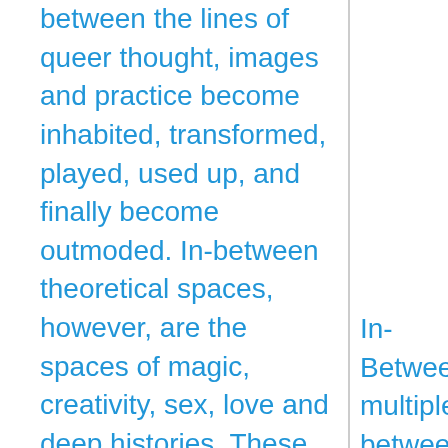between the lines of queer thought, images and practice become inhabited, transformed, played, used up, and finally become outmoded. In-between theoretical spaces, however, are the spaces of magic, creativity, sex, love and deep histories. These lie outside the languages of fixed
In-Between multiple in between th image, and interstitial s established